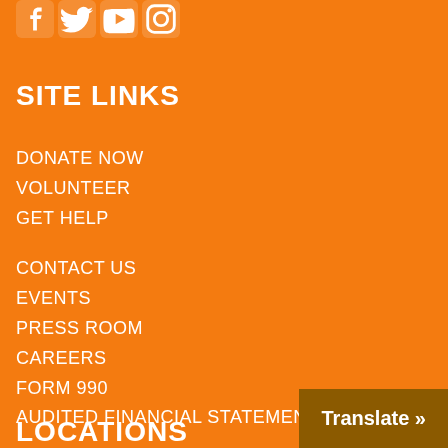[Figure (illustration): Social media icons row: Facebook, Twitter, YouTube, Instagram — white icons on orange background]
SITE LINKS
DONATE NOW
VOLUNTEER
GET HELP
CONTACT US
EVENTS
PRESS ROOM
CAREERS
FORM 990
AUDITED FINANCIAL STATEMENTS
LOCATIONS
Translate »